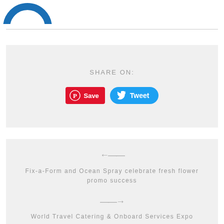[Figure (logo): Blue circular logo (partial view, top-left)]
SHARE ON:
[Figure (other): Pinterest Save button (red) and Twitter Tweet button (blue)]
← Fix-a-Form and Ocean Spray celebrate fresh flower promo success
→ World Travel Catering & Onboard Services Expo